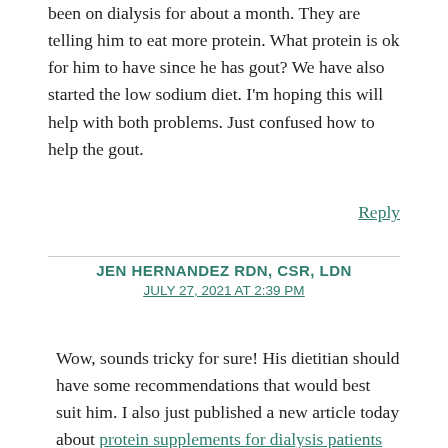been on dialysis for about a month. They are telling him to eat more protein. What protein is ok for him to have since he has gout? We have also started the low sodium diet. I'm hoping this will help with both problems. Just confused how to help the gout.
Reply
JEN HERNANDEZ RDN, CSR, LDN
JULY 27, 2021 AT 2:39 PM
Wow, sounds tricky for sure! His dietitian should have some recommendations that would best suit him. I also just published a new article today about protein supplements for dialysis patients that may be helpful. In general, make sure the proteins are low in sodium – salt does a lot with gout flares.